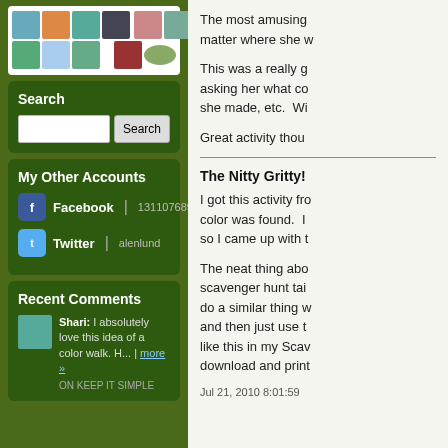[Figure (photo): Grid of user avatar thumbnails in a white rounded box]
Search
Search input field and Search button
My Other Accounts
Facebook | 1311076894
Twitter | alenlund
Recent Comments
Shari: I absolutely love this idea of a color walk. H... more »
ON KEEP IT SIMPLE
The most amusing matter where she w
This was a really g asking her what co she made, etc. Wi
Great activity thou
The Nitty Gritty!
I got this activity fro color was found. I so I came up with t
The neat thing abo scavenger hunt tai do a similar thing w and then just use t like this in my Scav download and print
Jul 21, 2010 8:01:59